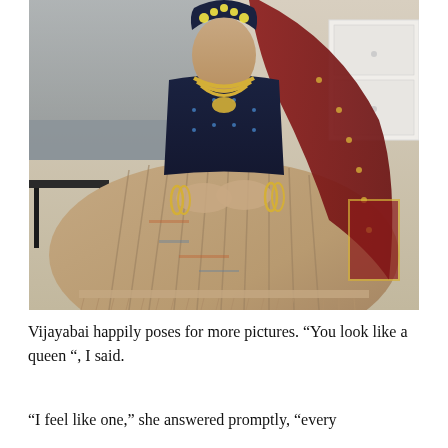[Figure (photo): An elderly Indian woman dressed in a traditional saree with deep navy blue and dark red colors, adorned with gold jewelry including a large gold necklace and bangles, and flowers in her hair. She is seated and her hands rest on her lap. The saree has intricate woven patterns. Background shows an indoor setting with a sofa and a white cabinet.]
Vijayabai happily poses for more pictures. “You look like a queen “, I said.
“I feel like one,” she answered promptly, “every